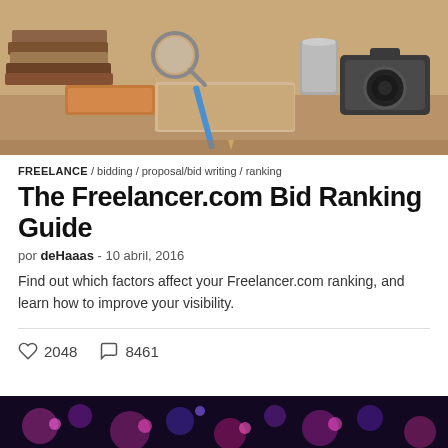[Figure (photo): Desk scene with stacked books, magnifying glass, pencil on notebook, camera, and other office/vintage items on a wooden surface]
FREELANCE / bidding / proposal/bid writing / ranking
The Freelancer.com Bid Ranking Guide
por deHaaas - 10 abril, 2016
Find out which factors affect your Freelancer.com ranking, and learn how to improve your visibility.
♡ 2048   ○ 8461
[Figure (photo): Dark background with colorful pink/purple bokeh lights, resembling a nightlife or technology scene]